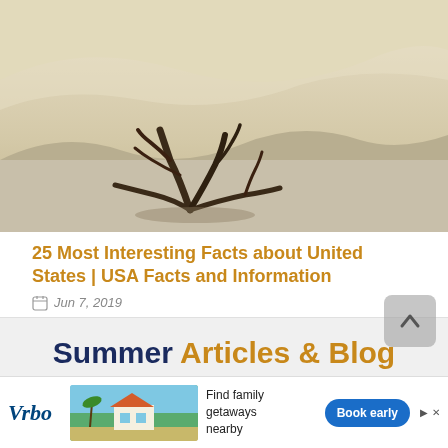[Figure (photo): Desert sand dunes with a dried/dead driftwood or dead bush in the foreground, wide landscape shot.]
25 Most Interesting Facts about United States | USA Facts and Information
Jun 7, 2019
Summer Articles & Blog
Get travel inspiration from our summer travel articles and blogs. Summer is full of festive
[Figure (screenshot): Vrbo advertisement banner: Find family getaways nearby, Book early button.]